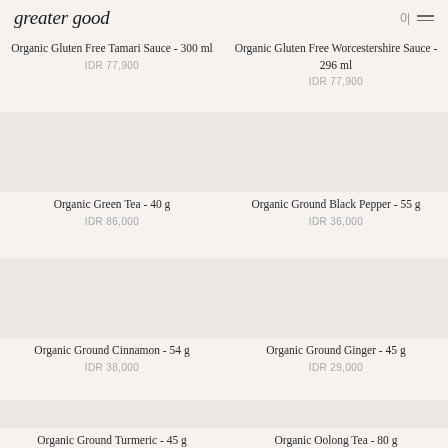greater good
Organic Gluten Free Tamari Sauce - 300 ml
IDR 77,900
Organic Gluten Free Worcestershire Sauce - 296 ml
IDR 77,900
Organic Green Tea - 40 g
IDR 86,000
Organic Ground Black Pepper - 55 g
IDR 36,000
Organic Ground Cinnamon - 54 g
IDR 38,000
Organic Ground Ginger - 45 g
IDR 29,000
Organic Ground Turmeric - 45 g
Organic Oolong Tea - 80 g